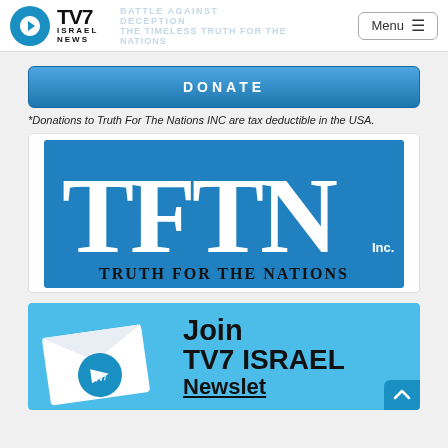TV7 ISRAEL NEWS | BATTLE AGAINST DECEPTION | THE TIMELESS TRUTH FOR THE NATIONS
[Figure (logo): TV7 Israel News logo with blue circle icon and Menu button in top navigation bar]
[Figure (logo): DONATE button - blue gradient rectangular button with white bold text]
*Donations to Truth For The Nations INC are tax deductible in the USA.
[Figure (logo): TFTN Truth For The Nations logo - large white letters TFTN on blue background with company name below]
[Figure (illustration): TV7 Israel News newsletter signup banner - light blue background with envelope illustration and Join TV7 ISRAEL Newsletter text]